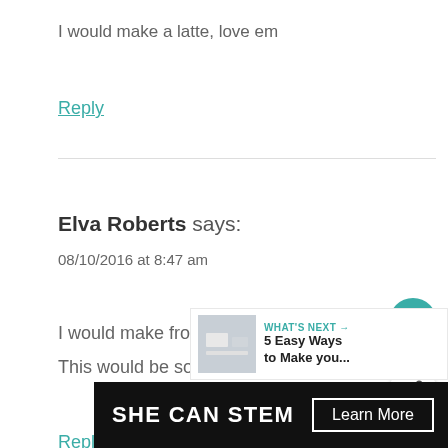I would make a latte, love em
Reply
Elva Roberts says:
08/10/2016 at 8:47 am
I would make frothy hot chocolate. I love it
This would be so delicious!
Reply
[Figure (infographic): SHE CAN STEM Learn More ad banner at bottom of page]
[Figure (infographic): Like button with heart icon (teal circle), share button, count 285, and What's Next widget showing '5 Easy Ways to Make you...']